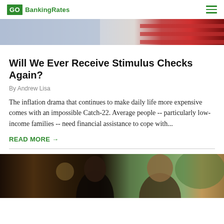GOBankingRates
[Figure (photo): Partial view of an American flag with blue and red sections, cropped at top of article.]
Will We Ever Receive Stimulus Checks Again?
By Andrew Lisa
The inflation drama that continues to make daily life more expensive comes with an impossible Catch-22. Average people -- particularly low-income families -- need financial assistance to cope with...
READ MORE →
[Figure (photo): Two women, one Black and one with curly hair and glasses, appearing to discuss something together in a warm-lit indoor setting.]